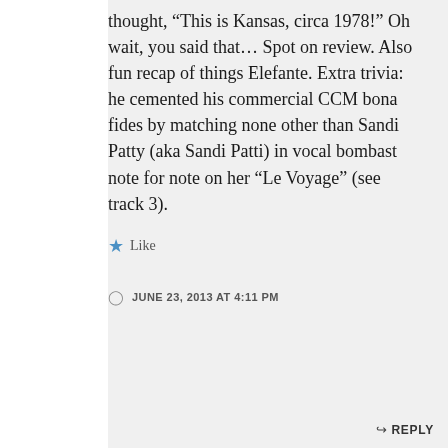thought, “This is Kansas, circa 1978!” Oh wait, you said that… Spot on review. Also fun recap of things Elefante. Extra trivia: he cemented his commercial CCM bona fides by matching none other than Sandi Patty (aka Sandi Patti) in vocal bombast note for note on her “Le Voyage” (see track 3).
★ Like
JUNE 23, 2013 AT 4:11 PM
↪ REPLY